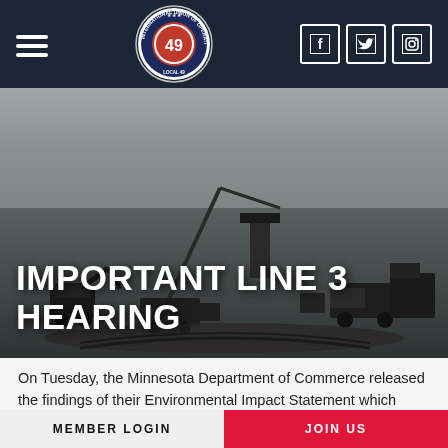[Figure (logo): International Union of Operating Engineers Local 49 circular logo with red center showing '49']
[Figure (photo): Black and white aerial photograph of a construction/pipeline worksite with heavy equipment and machinery]
IMPORTANT LINE 3 HEARING
On Tuesday, the Minnesota Department of Commerce released the findings of their Environmental Impact Statement which studied how
MEMBER LOGIN    JOIN US